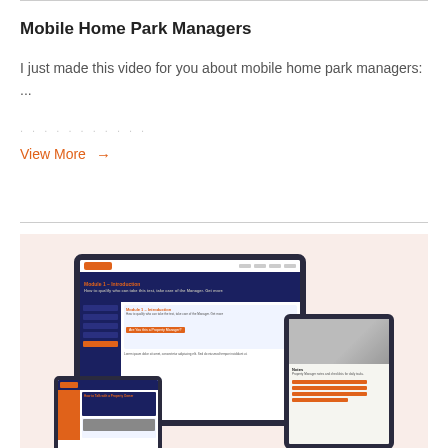Mobile Home Park Managers
I just made this video for you about mobile home park managers: ...
View More →
[Figure (screenshot): Mockup of website displayed on a large tablet, a smaller phone/tablet, and a tablet on the right — all showing a blue and orange branded site about property management. Background is a light pinkish-beige.]